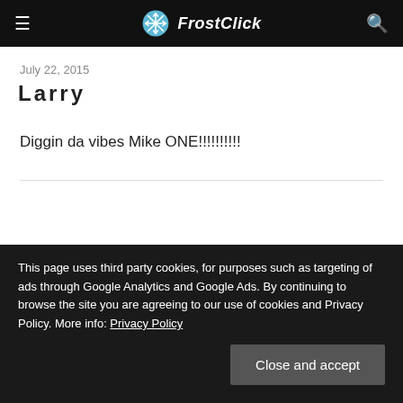FrostClick
July 22, 2015
Larry
Diggin da vibes Mike ONE!!!!!!!!!
This page uses third party cookies, for purposes such as targeting of ads through Google Analytics and Google Ads. By continuing to browse the site you are agreeing to our use of cookies and Privacy Policy. More info: Privacy Policy